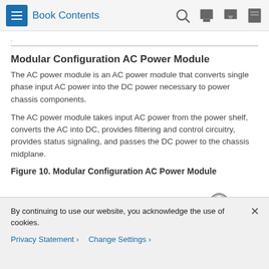Book Contents
Modular Configuration AC Power Module
The AC power module is an AC power module that converts single phase input AC power into the DC power necessary to power chassis components.
The AC power module takes input AC power from the power shelf, converts the AC into DC, provides filtering and control circuitry, provides status signaling, and passes the DC power to the chassis midplane.
Figure 10. Modular Configuration AC Power Module
[Figure (illustration): Partial view of Figure 10 showing the top portion of the Modular Configuration AC Power Module hardware illustration]
By continuing to use our website, you acknowledge the use of cookies.
Privacy Statement > Change Settings >